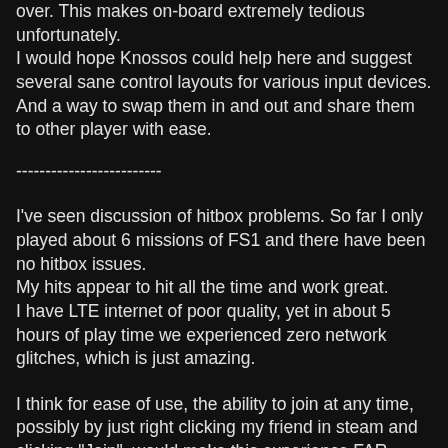over. This makes on-board extremely tedious unfortunately. I would hope Knossos could help here and suggest several sane control layouts for various input devices.
And a way to swap them in and out and share them to other player with ease.
-------------------------
I've seen discussion of hitbox problems. So far I only played about 6 missions of FS1 and there have been no hitbox issues.
My hits appear to hit all the time and work great.
I have LTE internet of poor quality, yet in about 5 hours of play time we experienced zero network glitches, which is just amazing.
I think for ease of use, the ability to join at any time, possibly by just right clicking my friend in steam and clicking "Join"  would make this experience FAR more accessible.
I really hope that if anyone is still hanging on that net code